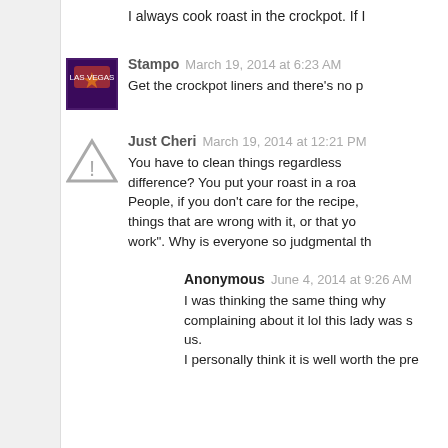I always cook roast in the crockpot. If I
Stampo  March 19, 2014 at 6:23 AM
Get the crockpot liners and there's no p
Just Cheri  March 19, 2014 at 12:21 PM
You have to clean things regardless difference? You put your roast in a roa People, if you don't care for the recipe, things that are wrong with it, or that yo work". Why is everyone so judgmental th
Anonymous  June 4, 2014 at 9:26 AM
I was thinking the same thing why complaining about it lol this lady was s us.
I personally think it is well worth the pre